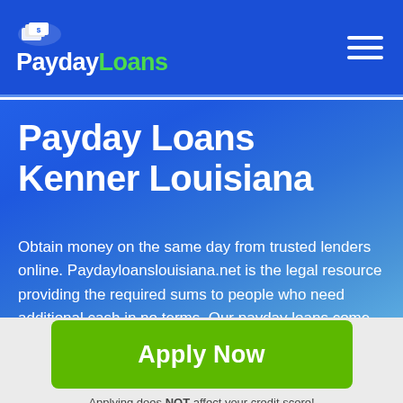PaydayLoans
Payday Loans Kenner Louisiana
Obtain money on the same day from trusted lenders online. Paydayloanslouisiana.net is the legal resource providing the required sums to people who need additional cash in no terms. Our payday loans come up with extended repayment terms, bigger
Apply Now
Applying does NOT affect your credit score!
No credit check to apply.